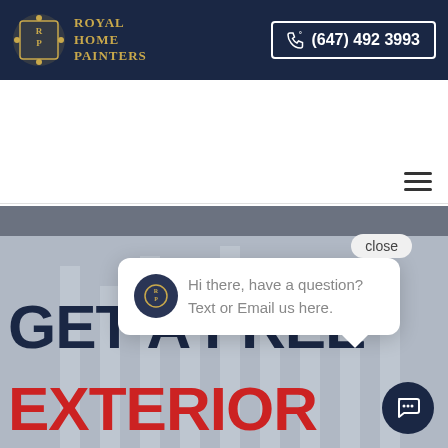Royal Home Painters — (647) 492 3993
[Figure (logo): Royal Home Painters logo with gold emblem and dark navy text]
(647) 492 3993
[Figure (infographic): Awards and certifications bar: ThreeBest Rated Business Excellence Awards 2022, Google Top Rated, Houzz featured, Rated and Recommended TrustExpres, HomeStars Verified]
close
Hi there, have a question? Text or Email us here.
GET A FREE
EXTERIOR